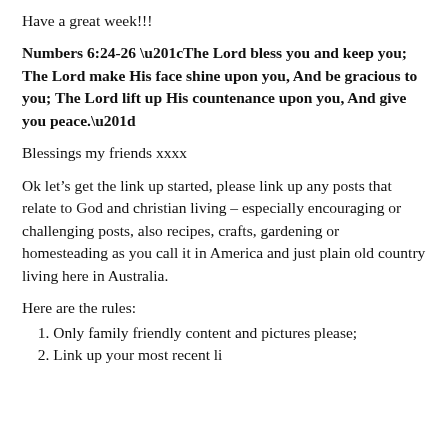Have a great week!!!
Numbers 6:24-26 “The Lord bless you and keep you; The Lord make His face shine upon you, And be gracious to you; The Lord lift up His countenance upon you, And give you peace.”
Blessings my friends xxxx
Ok let’s get the link up started, please link up any posts that relate to God and christian living – especially encouraging or challenging posts, also recipes, crafts, gardening or homesteading as you call it in America and just plain old country living here in Australia.
Here are the rules:
1. Only family friendly content and pictures please;
2. Link up your most recent li…